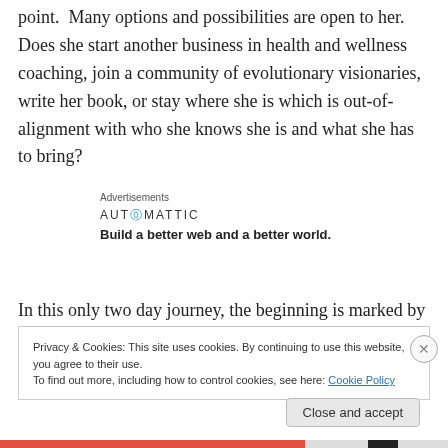point.  Many options and possibilities are open to her. Does she start another business in health and wellness coaching, join a community of evolutionary visionaries, write her book, or stay where she is which is out-of-alignment with who she knows she is and what she has to bring?
[Figure (infographic): Automattic advertisement block with label 'Advertisements', logo 'AUTOMATTIC' and tagline 'Build a better web and a better world.']
In this only two day journey, the beginning is marked by a
Privacy & Cookies: This site uses cookies. By continuing to use this website, you agree to their use.
To find out more, including how to control cookies, see here: Cookie Policy